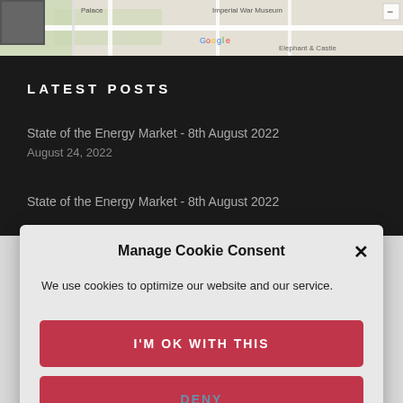[Figure (screenshot): Google Maps strip showing area near Imperial War Museum and Elephant and Castle, London]
LATEST POSTS
State of the Energy Market - 8th August 2022
August 24, 2022
State of the Energy Market - 8th August 2022
Manage Cookie Consent
We use cookies to optimize our website and our service.
I'M OK WITH THIS
DENY